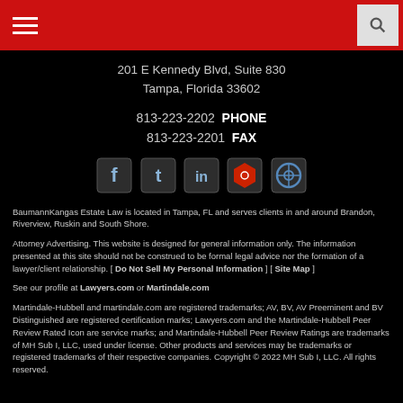Navigation header with hamburger menu and search icon
201 E Kennedy Blvd, Suite 830
Tampa, Florida 33602
813-223-2202  PHONE
813-223-2201  FAX
[Figure (infographic): Social media icons: Facebook, Twitter, LinkedIn, a red hexagon icon, and a blue circle icon]
BaumannKangas Estate Law is located in Tampa, FL and serves clients in and around Brandon, Riverview, Ruskin and South Shore.
Attorney Advertising. This website is designed for general information only. The information presented at this site should not be construed to be formal legal advice nor the formation of a lawyer/client relationship. [ Do Not Sell My Personal Information ] [ Site Map ]
See our profile at Lawyers.com or Martindale.com
Martindale-Hubbell and martindale.com are registered trademarks; AV, BV, AV Preeminent and BV Distinguished are registered certification marks; Lawyers.com and the Martindale-Hubbell Peer Review Rated Icon are service marks; and Martindale-Hubbell Peer Review Ratings are trademarks of MH Sub I, LLC, used under license. Other products and services may be trademarks or registered trademarks of their respective companies. Copyright © 2022 MH Sub I, LLC. All rights reserved.